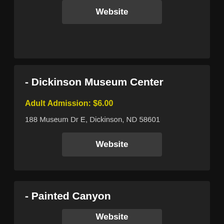Website
- Dickinson Museum Center
Adult Admission: $6.00
188 Museum Dr E, Dickinson, ND 58601
Website
- Painted Canyon
Vehicle Fee: $30.00
46.89542, -103.38157
Website